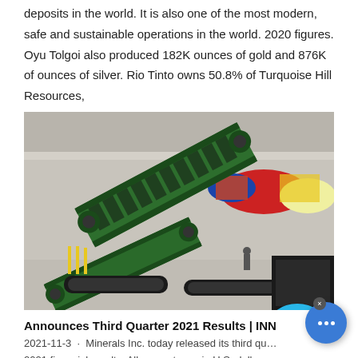deposits in the world. It is also one of the most modern, safe and sustainable operations in the world. 2020 figures. Oyu Tolgoi also produced 182K ounces of gold and 876K of ounces of silver. Rio Tinto owns 50.8% of Turquoise Hill Resources,
[Figure (photo): Industrial green mining machinery/conveyor equipment photographed in a large warehouse or exhibition hall. A 'Live Chat' bubble overlay appears in the upper right corner of the image.]
Announces Third Quarter 2021 Results | INN
2021-11-3 · Minerals Inc. today released its third quarter 2021 financial results. All amounts are in U.S. dollars, unless otherwise noted. Third Quarter Operating and Financial